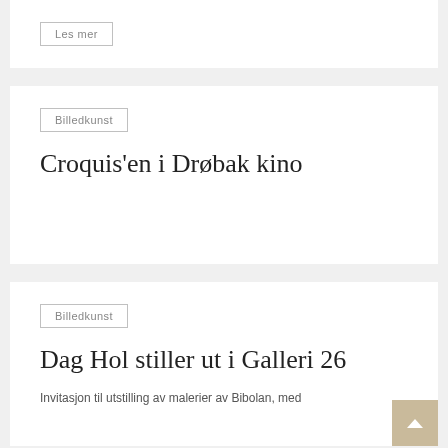Les mer
Billedkunst
Croquis'en i Drøbak kino
Billedkunst
Dag Hol stiller ut i Galleri 26
Invitasjon til utstilling av malerier av Bibolan, med